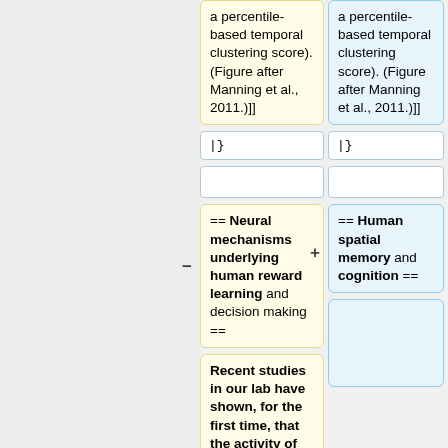a percentile-based temporal clustering score). (Figure after Manning et al., 2011.)]]
a percentile-based temporal clustering score). (Figure after Manning et al., 2011.)]]
|}
|}
== Neural mechanisms underlying human reward learning and decision making ==
== Human spatial memory and cognition ==
Recent studies in our lab have shown, for the first time, that the activity of